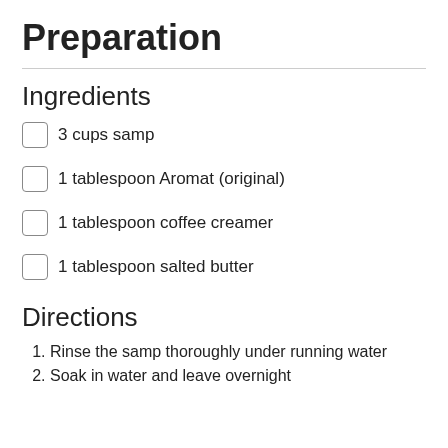Preparation
Ingredients
3 cups samp
1 tablespoon Aromat (original)
1 tablespoon coffee creamer
1 tablespoon salted butter
Directions
Rinse the samp thoroughly under running water
Soak in water and leave overnight